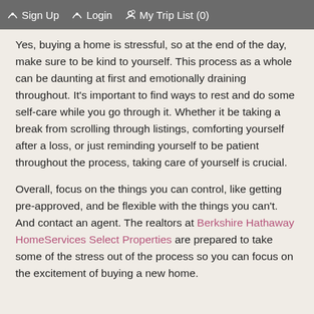Sign Up   Login   My Trip List (0)
Yes, buying a home is stressful, so at the end of the day, make sure to be kind to yourself. This process as a whole can be daunting at first and emotionally draining throughout. It's important to find ways to rest and do some self-care while you go through it. Whether it be taking a break from scrolling through listings, comforting yourself after a loss, or just reminding yourself to be patient throughout the process, taking care of yourself is crucial.
Overall, focus on the things you can control, like getting pre-approved, and be flexible with the things you can't. And contact an agent. The realtors at Berkshire Hathaway HomeServices Select Properties are prepared to take some of the stress out of the process so you can focus on the excitement of buying a new home.